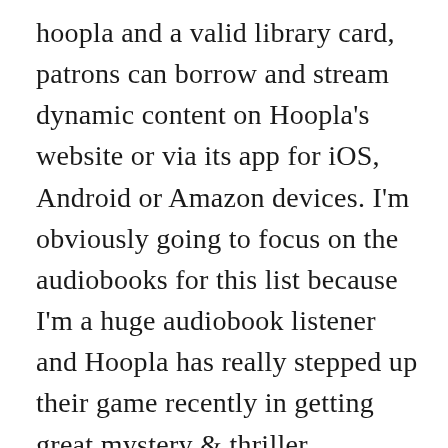hoopla and a valid library card, patrons can borrow and stream dynamic content on Hoopla's website or via its app for iOS, Android or Amazon devices. I'm obviously going to focus on the audiobooks for this list because I'm a huge audiobook listener and Hoopla has really stepped up their game recently in getting great mystery & thriller audiobooks. Books and comics automatically download as soon as you borrow them. Anywhere that you take your mobile device (i.e. As the audiobook industry flourishes, so is the number of ways you can listen to audiobooks with apps for smartphones, iPads, desktops and Kindles from Amazon, Google and Apple — ... 3. Hoopla